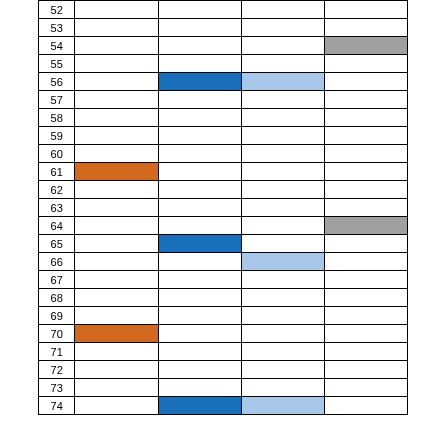| Row | Col1 | Col2 | Col3 | Col4 |
| --- | --- | --- | --- | --- |
| 52 |  |  |  |  |
| 53 |  |  |  |  |
| 54 |  |  |  | gray |
| 55 |  |  |  |  |
| 56 |  | blue-dark | blue-light |  |
| 57 |  |  |  |  |
| 58 |  |  |  |  |
| 59 |  |  |  |  |
| 60 |  |  |  |  |
| 61 | orange |  |  |  |
| 62 |  |  |  |  |
| 63 |  |  |  |  |
| 64 |  |  |  | gray |
| 65 |  | blue-dark |  |  |
| 66 |  |  | blue-light |  |
| 67 |  |  |  |  |
| 68 |  |  |  |  |
| 69 |  |  |  |  |
| 70 | orange |  |  |  |
| 71 |  |  |  |  |
| 72 |  |  |  |  |
| 73 |  |  |  |  |
| 74 |  | blue-dark | blue-light |  |